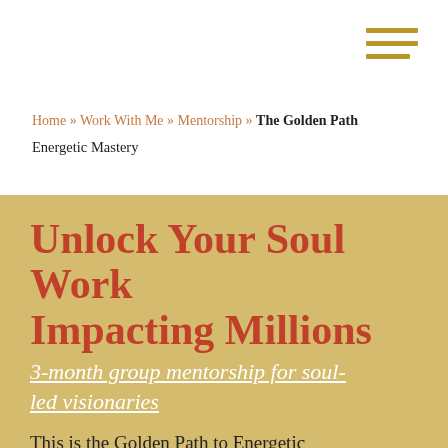[Figure (other): Hamburger menu icon with three horizontal gold bars in the top-right corner]
Home » Work With Me » Mentorship » The Golden Path Energetic Mastery
Unlock Your Soul Work Impacting Millions
3-month group mentorship for soul-led visionaries
This is the Golden Path to Energetic Mastery ...